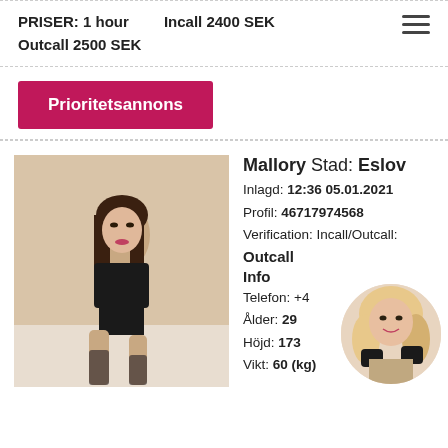PRISER: 1 hour Incall 2400 SEK Outcall 2500 SEK
Prioritetsannons
[Figure (photo): Young woman in black lingerie sitting on a bed]
Mallory Stad: Eslov
Inlagd: 12:36 05.01.2021
Profil: 46717974568
Verification: Incall/Outcall:
Outcall
Info
Telefon: +4...
Ålder: 29
Höjd: 173
Vikt: 60 (kg)
[Figure (photo): Circular thumbnail of blonde woman]